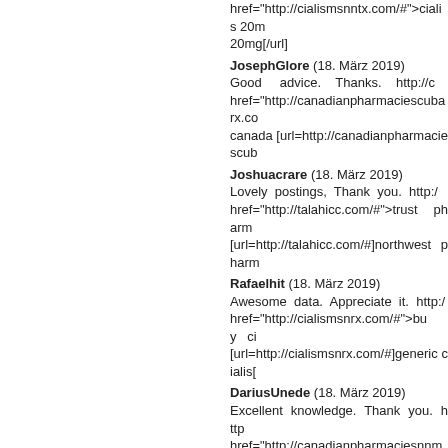href="http://cialismsnntx.com/#">cialis 20mg[ /url] 20mg[/url]
JosephGlore (18. März 2019) Good advice. Thanks. http://c href="http://canadianpharmaciescubarx.co canada [url=http://canadianpharmaciescub
Joshuacrare (18. März 2019) Lovely postings, Thank you. http:/ href="http://talahicc.com/#">trust pharm [url=http://talahicc.com/#]northwest pharm
Rafaelhit (18. März 2019) Awesome data. Appreciate it. http:/ href="http://cialismsnrx.com/#">buy ci [url=http://cialismsnrx.com/#]generic cialis[
DariusUnede (18. März 2019) Excellent knowledge. Thank you. http href="http://canadianpharmaciesnnm.com/ [url=http://canadianpharmaciesnnm.com/#
JesseOpemy (18. März 2019) Thanks a lot. An abundance of info. http online <a href="http://onlinecasinogame.u [url=http://onlinecasinogame.us.org/#]free
JosephPrago (18. März 2019) You actually explained that really href="http://cialispego.com/#">buy ci [url=http://cialispego.com/#]cialis 20mg[/ur